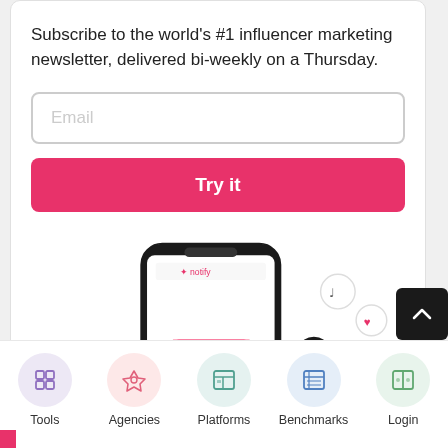Subscribe to the world's #1 influencer marketing newsletter, delivered bi-weekly on a Thursday.
[Figure (screenshot): Email input field placeholder]
[Figure (screenshot): Try it button - pink/red CTA button]
[Figure (illustration): Illustration of a smartphone with email envelope and a person interacting with social media icons (TikTok, heart, Facebook) floating around]
[Figure (illustration): Navigation bar with 5 items: Tools (grid icon, purple circle), Agencies (rocket icon, pink circle), Platforms (layout icon, teal circle), Benchmarks (chart icon, blue circle), Login (door icon, green circle)]